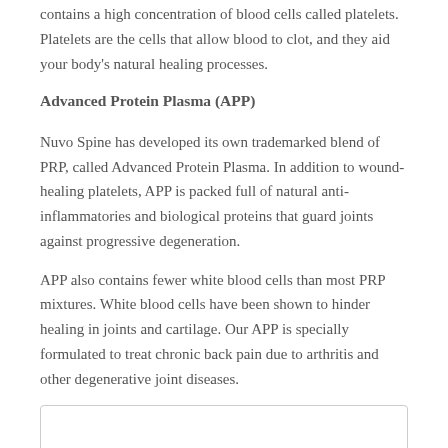contains a high concentration of blood cells called platelets. Platelets are the cells that allow blood to clot, and they aid your body’s natural healing processes.
Advanced Protein Plasma (APP)
Nuvo Spine has developed its own trademarked blend of PRP, called Advanced Protein Plasma. In addition to wound-healing platelets, APP is packed full of natural anti-inflammatories and biological proteins that guard joints against progressive degeneration.
APP also contains fewer white blood cells than most PRP mixtures. White blood cells have been shown to hinder healing in joints and cartilage. Our APP is specially formulated to treat chronic back pain due to arthritis and other degenerative joint diseases.
[Figure (other): Empty bordered box at bottom of page]